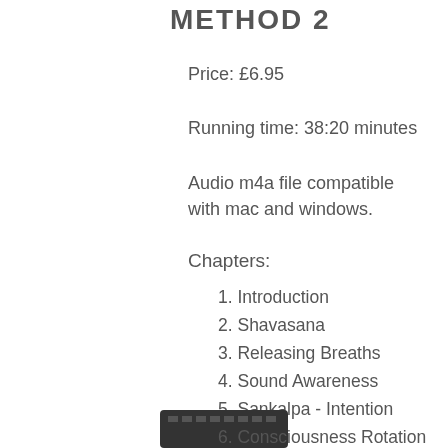METHOD 2
Price: £6.95
Running time: 38:20 minutes
Audio m4a file compatible with mac and windows.
Chapters:
1. Introduction
2. Shavasana
3. Releasing Breaths
4. Sound Awareness
5. Sankalpa - Intention
6. Consciousness Rotation
7. Bird's Eye View
8. Breathing Exercise: The